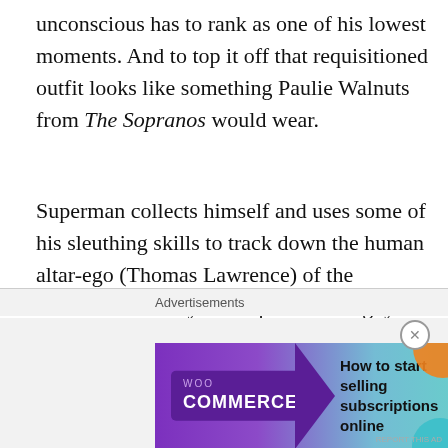unconscious has to rank as one of his lowest moments. And to top it off that requisitioned outfit looks like something Paulie Walnuts from The Sopranos would wear.
Superman collects himself and uses some of his sleuthing skills to track down the human altar-ego (Thomas Lawrence) of the werewolf. Luckily for Superman the guy is in his human form, so don’t worry — our hero won’t get curb-stomped or anything. Thomas does some explaining, and the two of them go back to the lab to confront the group of scientists:
[Figure (illustration): Comic strip panels showing Superman confronting scientists in a lab. Left panel: speech bubbles reading 'YOU USED THE SERUM TO MAKE YOU ANIMALS...AND YOU USED YOUR POWERS TO COMMIT CRIME.' and 'YOU'RE JORDY, HE'S A MURDERER!' Right panel: speech bubbles reading 'THOMAS IS LEFT AMONG YOU'RE THE KILLERS!' and 'KILL THEM! KILL THEM! NOW!!']
Advertisements
[Figure (other): WooCommerce advertisement banner with purple/teal gradient. Shows WooCommerce logo with text 'How to start selling subscriptions online']